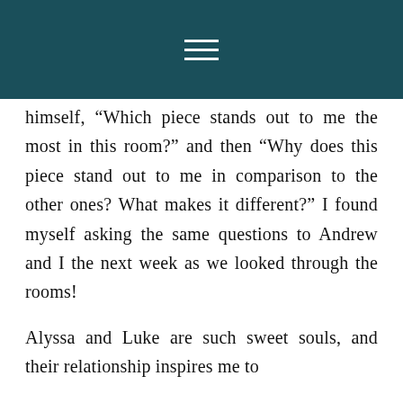[hamburger menu icon]
himself, “Which piece stands out to me the most in this room?” and then “Why does this piece stand out to me in comparison to the other ones? What makes it different?” I found myself asking the same questions to Andrew and I the next week as we looked through the rooms!
Alyssa and Luke are such sweet souls, and their relationship inspires me to